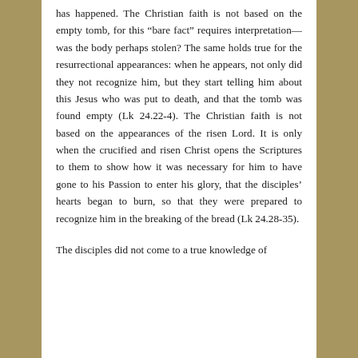has happened. The Christian faith is not based on the empty tomb, for this “bare fact” requires interpretation—was the body perhaps stolen? The same holds true for the resurrectional appearances: when he appears, not only did they not recognize him, but they start telling him about this Jesus who was put to death, and that the tomb was found empty (Lk 24.22-4). The Christian faith is not based on the appearances of the risen Lord. It is only when the crucified and risen Christ opens the Scriptures to them to show how it was necessary for him to have gone to his Passion to enter his glory, that the disciples’ hearts began to burn, so that they were prepared to recognize him in the breaking of the bread (Lk 24.28-35).
The disciples did not come to a true knowledge of